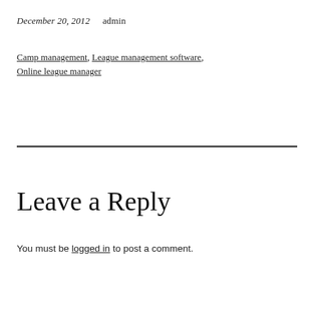December 20, 2012    admin
Camp management, League management software, Online league manager
Leave a Reply
You must be logged in to post a comment.